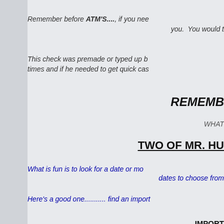Remember before ATM'S...., if you need... you. You would t
This check was premade or typed up by times and if he needed to get quick cas
REMEMB
WHAT
TWO OF MR. HU
What is fun is to look for a date or mo dates to choose from
Here's a good one........... find an import
IMPORT
I have lowered the price of many in t some have a few tears. THE GOOD
You can't find
They lo